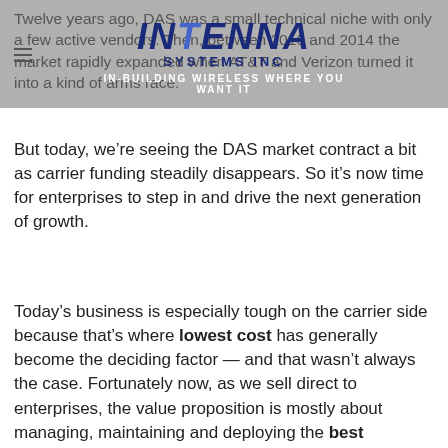Twelve years ago, DAS was a small technical niche with only a few active vendors. Then, between 2010 and 2014 the market rapidly expanded when AT&T and Verizon turned it into a kind of arms race.
[Figure (logo): INTENNA SYSTEMS INC logo with tagline IN-BUILDING WIRELESS WHERE YOU WANT IT]
But today, we’re seeing the DAS market contract a bit as carrier funding steadily disappears. So it’s now time for enterprises to step in and drive the next generation of growth.
Today’s business is especially tough on the carrier side because that’s where lowest cost has generally become the deciding factor — and that wasn’t always the case. Fortunately now, as we sell direct to enterprises, the value proposition is mostly about managing, maintaining and deploying the best solution possible for the enterprise’s specific environment